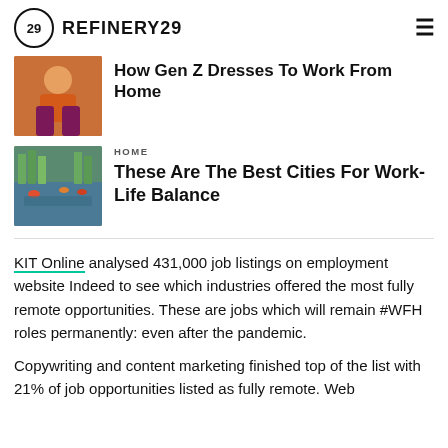REFINERY29
[Figure (photo): Thumbnail of person in orange top and purple pants, work from home style]
How Gen Z Dresses To Work From Home
[Figure (photo): Thumbnail of city canal with colorful flowers and trees, Amsterdam-like scene]
HOME
These Are The Best Cities For Work-Life Balance
KIT Online analysed 431,000 job listings on employment website Indeed to see which industries offered the most fully remote opportunities. These are jobs which will remain #WFH roles permanently: even after the pandemic.
Copywriting and content marketing finished top of the list with 21% of job opportunities listed as fully remote. Web